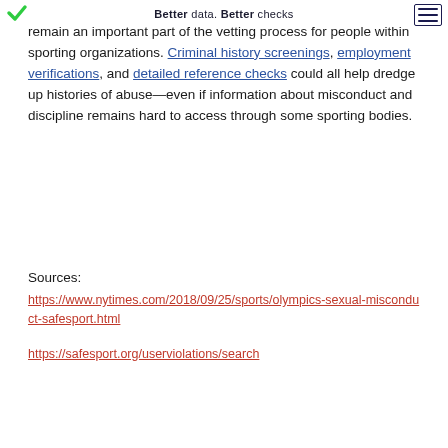Better data. Better checks
remain an important part of the vetting process for people within sporting organizations. Criminal history screenings, employment verifications, and detailed reference checks could all help dredge up histories of abuse—even if information about misconduct and discipline remains hard to access through some sporting bodies.
Sources:
https://www.nytimes.com/2018/09/25/sports/olympics-sexual-misconduct-safesport.html
https://safesport.org/userviolations/search